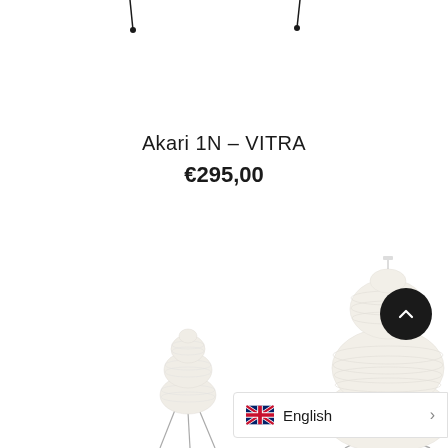[Figure (photo): Product page screenshot showing Akari 1N lamps by Vitra. Two white paper lantern lamps with stacked rounded globe shapes on thin wire legs are shown at the bottom. The top portion shows hanging lamp cords against white background.]
Akari 1N – VITRA
€295,00
[Figure (illustration): UK flag (Union Jack) icon for language selector]
English